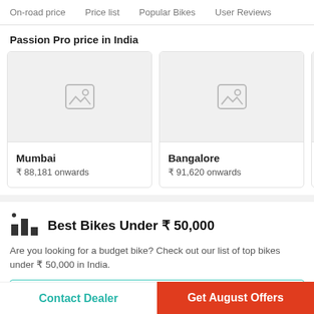On-road price | Price list | Popular Bikes | User Reviews
Passion Pro price in India
[Figure (other): City price card for Mumbai showing placeholder image]
[Figure (other): City price card for Bangalore showing placeholder image]
Mumbai
₹ 88,181 onwards
Bangalore
₹ 91,620 onwards
Best Bikes Under ₹ 50,000
Are you looking for a budget bike? Check out our list of top bikes under ₹ 50,000 in India.
Contact Dealer | Get August Offers